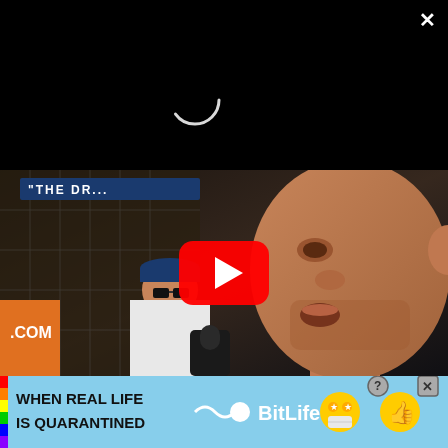[Figure (screenshot): Web browser overlay showing a black loading screen with a circular loading ring indicator in the upper portion, and an MMA/fighting video thumbnail below showing a fighter being interviewed inside a cage with a microphone, with a YouTube play button overlay in the center. Text visible in background: 'THE DR...' and '.COM']
[Figure (other): Advertisement banner at bottom: 'WHEN REAL LIFE IS QUARANTINED' with BitLife app promotion, rainbow stripe on left, cartoon emojis on right, help and close buttons top right]